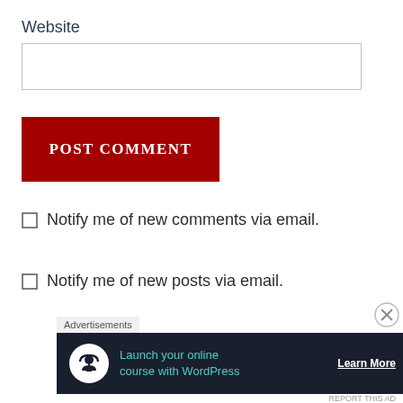Website
[input field]
POST COMMENT
Notify me of new comments via email.
Notify me of new posts via email.
Advertisements
[Figure (infographic): Advertisement banner: dark navy background, circular white icon with umbrella/person symbol, teal text 'Launch your online course with WordPress', white 'Learn More' link button]
REPORT THIS AD